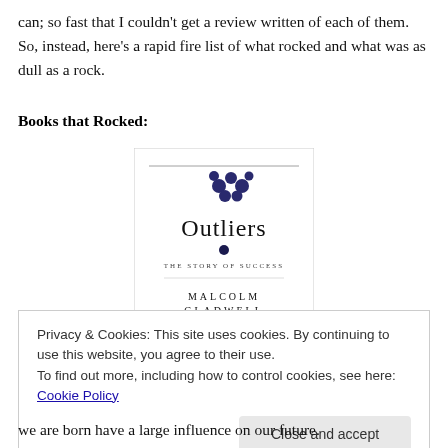can; so fast that I couldn't get a review written of each of them. So, instead, here's a rapid fire list of what rocked and what was as dull as a rock.
Books that Rocked:
[Figure (photo): Book cover of 'Outliers: The Story of Success' by Malcolm Gladwell, showing clustered dark blue spheres/molecules at the top, the title 'Outliers' in large serif font, subtitle 'The Story of Success', and author name 'Malcolm Gladwell' at the bottom.]
Privacy & Cookies: This site uses cookies. By continuing to use this website, you agree to their use.
To find out more, including how to control cookies, see here: Cookie Policy
we are born have a large influence on our future.